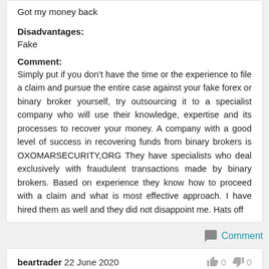Got my money back
Disadvantages:
Fake
Comment:
Simply put if you don't have the time or the experience to file a claim and pursue the entire case against your fake forex or binary broker yourself, try outsourcing it to a specialist company who will use their knowledge, expertise and its processes to recover your money. A company with a good level of success in recovering funds from binary brokers is OXOMARSECURITY,ORG They have specialists who deal exclusively with fraudulent transactions made by binary brokers. Based on experience they know how to proceed with a claim and what is most effective approach. I have hired them as well and they did not disappoint me. Hats off
Comment
beartrader 22 June 2020
0 0